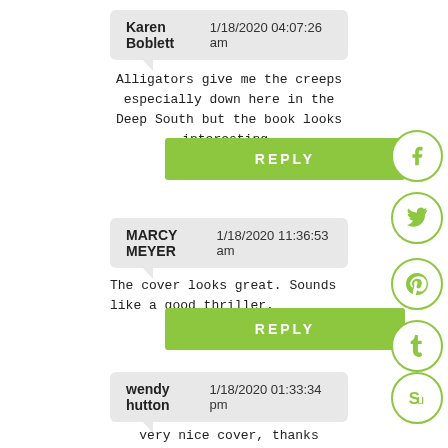Karen Boblett    1/18/2020 04:07:26 am
Alligators give me the creeps especially down here in the Deep South but the book looks interesting.
REPLY
MARCY MEYER    1/18/2020 11:36:53 am
The cover looks great. Sounds like a good thriller.
REPLY
wendy hutton    1/18/2020 01:33:34 pm
very nice cover, thanks